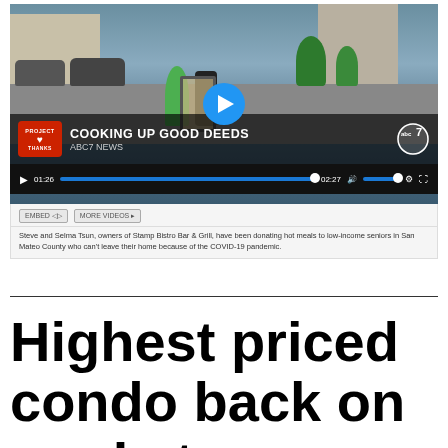[Figure (screenshot): Embedded video player screenshot from ABC7 News showing 'Cooking Up Good Deeds' segment with Project Thanks badge. Two people moving items in a parking lot. Video controls show timestamp 01:26 / 02:27. Below the player are EMBED and MORE VIDEOS buttons and a caption about Steve and Selma Tsun donating hot meals to low-income seniors in San Mateo County.]
Steve and Selma Tsun, owners of Stamp Bistro Bar & Grill, have been donating hot meals to low-income seniors in San Mateo County who can't leave their home because of the COVID-19 pandemic.
Highest priced condo back on market